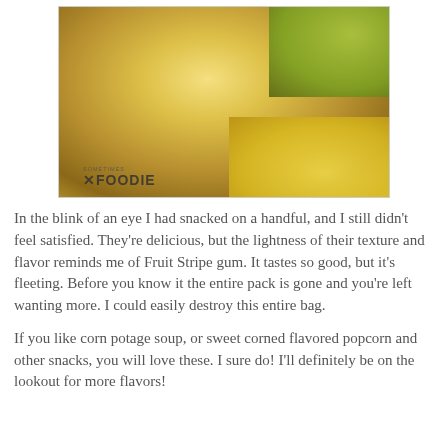[Figure (photo): Close-up photo of a hand holding a yellow/golden corn chip or snack between fingers, with a green snack bag visible in the background and more chips blurred in the background. A 'Sometimes Foodie' watermark appears in the lower left of the image.]
In the blink of an eye I had snacked on a handful, and I still didn't feel satisfied. They're delicious, but the lightness of their texture and flavor reminds me of Fruit Stripe gum. It tastes so good, but it's fleeting. Before you know it the entire pack is gone and you're left wanting more. I could easily destroy this entire bag.
If you like corn potage soup, or sweet corned flavored popcorn and other snacks, you will love these. I sure do! I'll definitely be on the lookout for more flavors!